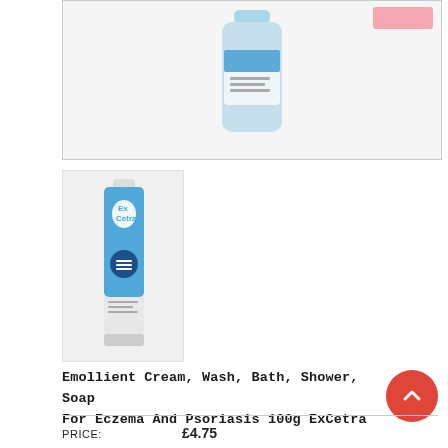[Figure (photo): Product photo of a blue and white cylindrical bottle/container, possibly an emollient or wash product, shown inside a light grey bordered box. A pink badge is visible at the top-right corner.]
[Figure (photo): Thumbnail image of an ExCetra emollient cream tube, white and blue, standing upright, showing the ExCetra branding with a blue teardrop logo.]
Emollient Cream, Wash, Bath, Shower, Soap For Eczema And Psoriasis 100g ExCetra
PRICE: £4.75